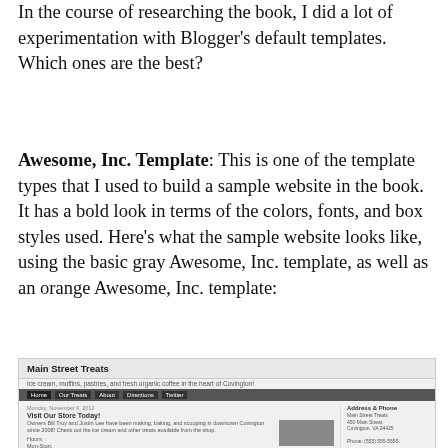In the course of researching the book, I did a lot of experimentation with Blogger's default templates. Which ones are the best?
Awesome, Inc. Template: This is one of the template types that I used to build a sample website in the book. It has a bold look in terms of the colors, fonts, and box styles used. Here's what the sample website looks like, using the basic gray Awesome, Inc. template, as well as an orange Awesome, Inc. template:
[Figure (screenshot): Screenshot of a sample website called 'Main Street Treats' built using the Awesome, Inc. Blogger template. Shows the blog header, navigation bar with Home, Our Treats, About, Directions, Twitter tabs, a blog post titled 'Visit Our Store Today!' dated Monday November 9 2012, with body text and a photo, and a sidebar showing Address & Phone information.]